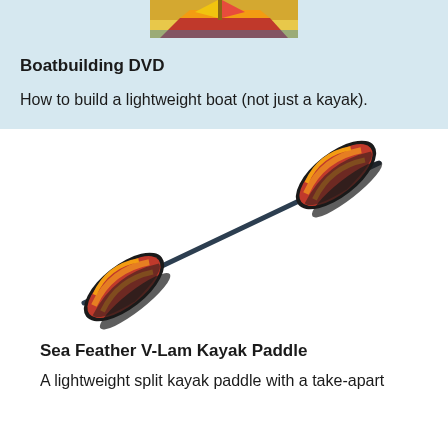[Figure (photo): Partial image of a colorful boatbuilding DVD cover showing a wooden boat with red, yellow and orange coloring at the top of the page.]
Boatbuilding DVD
How to build a lightweight boat (not just a kayak).
[Figure (photo): A double-bladed kayak paddle with orange, red, and black patterned blades on each end and a dark carbon-fiber shaft, photographed diagonally against a white background.]
Sea Feather V-Lam Kayak Paddle
A lightweight split kayak paddle with a take-apart